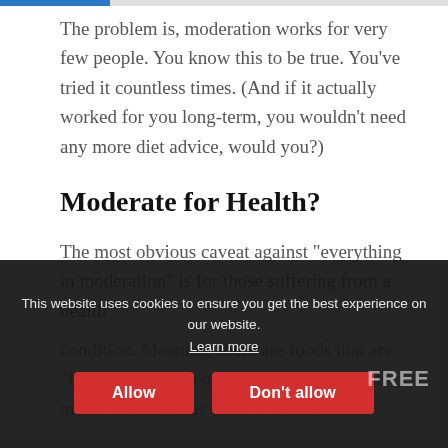[progress bar]
The problem is, moderation works for very few people. You know this to be true. You’ve tried it countless times. (And if it actually worked for you long-term, you wouldn’t need any more diet advice, would you?)
Moderate for Health?
The most obvious caveat against “everything in moderation” is for those suffering from a health condition. Meaning, there are foods that are “Lethal. Cut these out”… The very idea of moderation in your diet is terribly wa…
This website uses cookies to ensure you get the best experience on our website. Learn more
Allow
Don’t allow